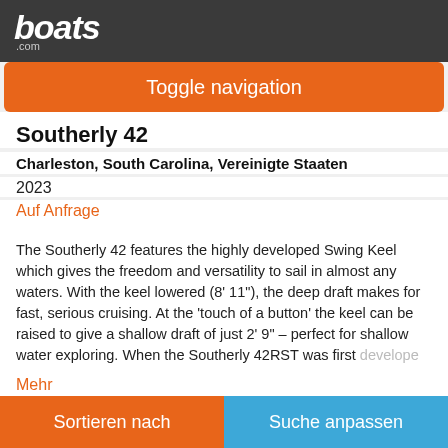boats.com
Toggle navigation
Southerly 42
Charleston, South Carolina, Vereinigte Staaten
2023
Auf Anfrage
The Southerly 42 features the highly developed Swing Keel which gives the freedom and versatility to sail in almost any waters. With the keel lowered (8' 11"), the deep draft makes for fast, serious cruising. At the 'touch of a button' the keel can be raised to give a shallow draft of just 2' 9" – perfect for shallow water exploring. When the Southerly 42RST was first develope
Mehr
Verkäufer S&J Yachts - Charleston
Sortieren nach | Suche anpassen